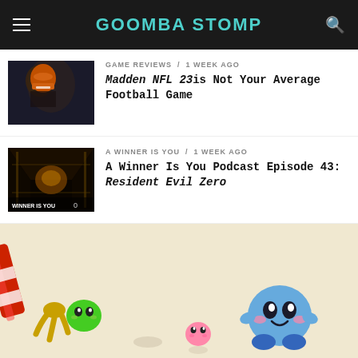GOOMBA STOMP
GAME REVIEWS / 1 week ago
Madden NFL 23 is Not Your Average Football Game
A WINNER IS YOU / 1 week ago
A Winner Is You Podcast Episode 43: Resident Evil Zero
[Figure (photo): Kirby game screenshot showing colorful characters including blue Kirby and green Kirby being picked up by a claw]
[Figure (photo): Partial view of another game screenshot, bottom of page]